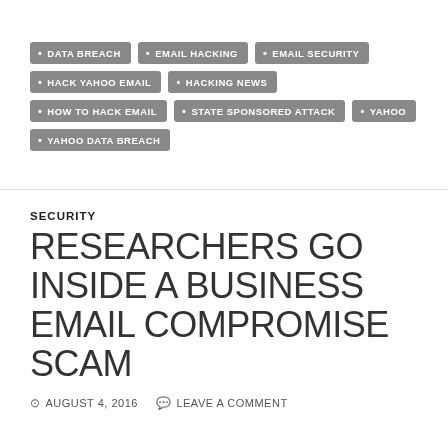DATA BREACH
EMAIL HACKING
EMAIL SECURITY
HACK YAHOO EMAIL
HACKING NEWS
HOW TO HACK EMAIL
STATE SPONSORED ATTACK
YAHOO
YAHOO DATA BREACH
SECURITY
RESEARCHERS GO INSIDE A BUSINESS EMAIL COMPROMISE SCAM
AUGUST 4, 2016   LEAVE A COMMENT